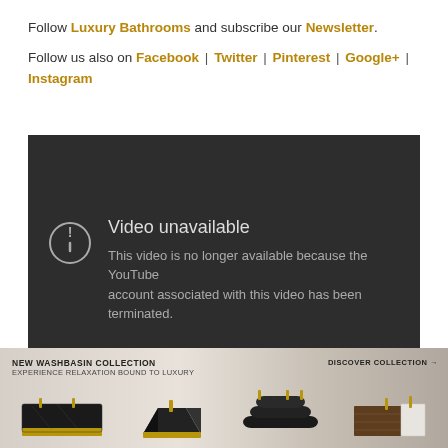Follow Luxury Bathrooms and subscribe our Newsletter.
Follow us also on Facebook | Twitter | Pinterest | Google+ | Instagram
[Figure (screenshot): Embedded YouTube video player showing 'Video unavailable' error message with icon and text: 'This video is no longer available because the YouTube account associated with this video has been terminated.']
[Figure (infographic): Advertisement banner: NEW WASHBASIN COLLECTION - EXPERIENCE RELAXATION BOUND TO LUXURY. DISCOVER COLLECTION arrow. Shows four luxury washbasin products on a marble background.]